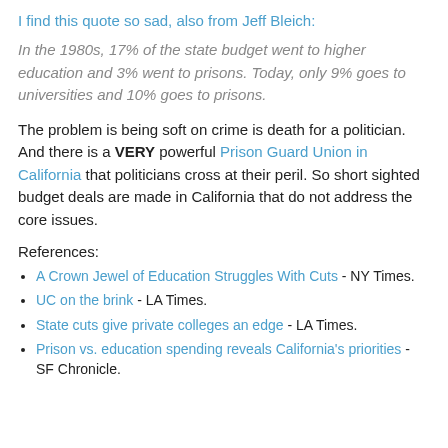I find this quote so sad, also from Jeff Bleich:
In the 1980s, 17% of the state budget went to higher education and 3% went to prisons. Today, only 9% goes to universities and 10% goes to prisons.
The problem is being soft on crime is death for a politician. And there is a VERY powerful Prison Guard Union in California that politicians cross at their peril. So short sighted budget deals are made in California that do not address the core issues.
References:
A Crown Jewel of Education Struggles With Cuts - NY Times.
UC on the brink - LA Times.
State cuts give private colleges an edge - LA Times.
Prison vs. education spending reveals California's priorities - SF Chronicle.